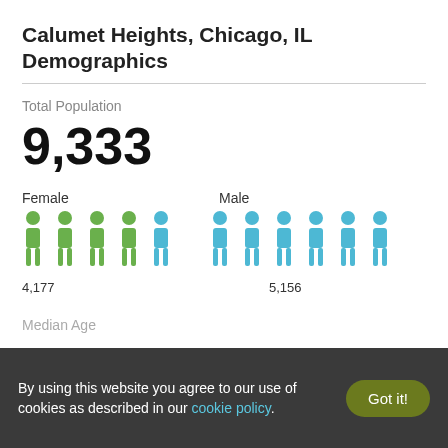Calumet Heights, Chicago, IL Demographics
Total Population
9,333
[Figure (infographic): Pictogram showing female (green) and male (blue) person icons. Female: 4,177; Male: 5,156. Female label top-left, Male label top-right. 4 green figures and 7 blue figures displayed.]
Median Age
By using this website you agree to our use of cookies as described in our cookie policy.